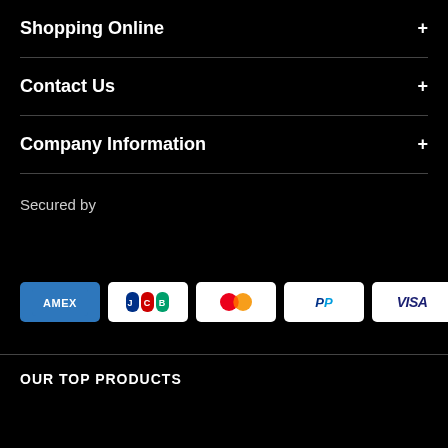Shopping Online
Contact Us
Company Information
Secured by
[Figure (logo): Payment method logos: American Express (AMEX), JCB, Mastercard, PayPal, VISA]
OUR TOP PRODUCTS